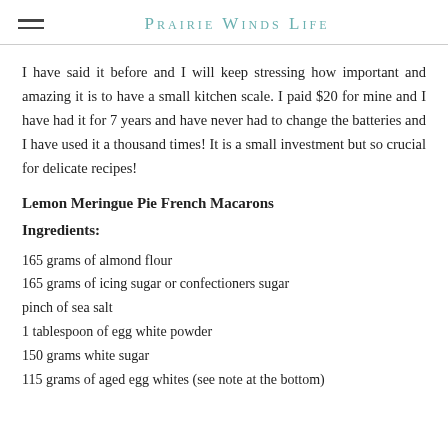Prairie Winds Life
I have said it before and I will keep stressing how important and amazing it is to have a small kitchen scale. I paid $20 for mine and I have had it for 7 years and have never had to change the batteries and I have used it a thousand times! It is a small investment but so crucial for delicate recipes!
Lemon Meringue Pie French Macarons
Ingredients:
165 grams of almond flour
165 grams of icing sugar or confectioners sugar
pinch of sea salt
1 tablespoon of egg white powder
150 grams white sugar
115 grams of aged egg whites (see note at the bottom)